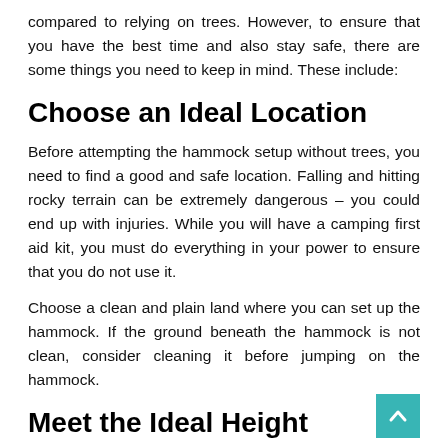compared to relying on trees. However, to ensure that you have the best time and also stay safe, there are some things you need to keep in mind. These include:
Choose an Ideal Location
Before attempting the hammock setup without trees, you need to find a good and safe location. Falling and hitting rocky terrain can be extremely dangerous – you could end up with injuries. While you will have a camping first aid kit, you must do everything in your power to ensure that you do not use it.
Choose a clean and plain land where you can set up the hammock. If the ground beneath the hammock is not clean, consider cleaning it before jumping on the hammock.
Meet the Ideal Height